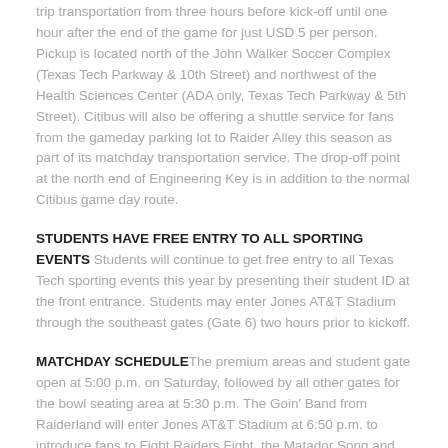trip transportation from three hours before kick-off until one hour after the end of the game for just USD 5 per person. Pickup is located north of the John Walker Soccer Complex (Texas Tech Parkway & 10th Street) and northwest of the Health Sciences Center (ADA only, Texas Tech Parkway & 5th Street). Citibus will also be offering a shuttle service for fans from the gameday parking lot to Raider Alley this season as part of its matchday transportation service. The drop-off point at the north end of Engineering Key is in addition to the normal Citibus game day route.
STUDENTS HAVE FREE ENTRY TO ALL SPORTING EVENTS Students will continue to get free entry to all Texas Tech sporting events this year by presenting their student ID at the front entrance. Students may enter Jones AT&T Stadium through the southeast gates (Gate 6) two hours prior to kickoff.
MATCHDAY SCHEDULE The premium areas and student gate open at 5:00 p.m. on Saturday, followed by all other gates for the bowl seating area at 5:30 p.m. The Goin' Band from Raiderland will enter Jones AT&T Stadium at 6:50 p.m. to introduce fans to Fight Raiders Fight, the Matador Song and the national anthem.